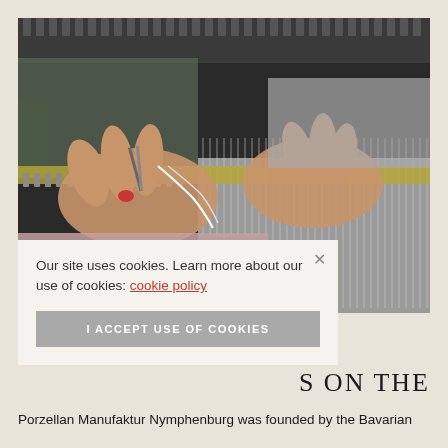[Figure (photo): Close-up photograph of hands working at an industrial knitting or weaving machine, manipulating thread/yarn between the metal needles and mechanisms of the machine.]
Our site uses cookies. Learn more about our use of cookies: cookie policy
I ACCEPT USE OF COOKIES
S ON THE
Porzellan Manufaktur Nymphenburg was founded by the Bavarian